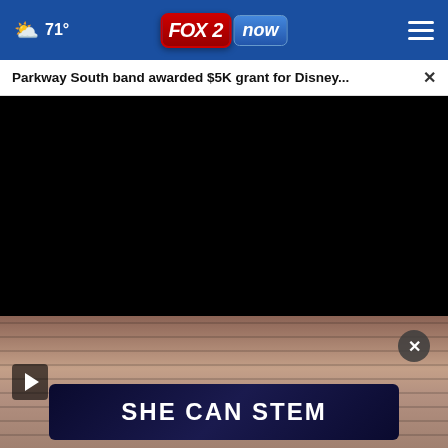71°  FOX 2 now
Parkway South band awarded $5K grant for Disney... ×
[Figure (screenshot): Black video player area (video not loaded)]
[Figure (screenshot): Video player showing brick wall background with play button, close button, and SHE CAN STEM banner overlay]
SHE CAN STEM